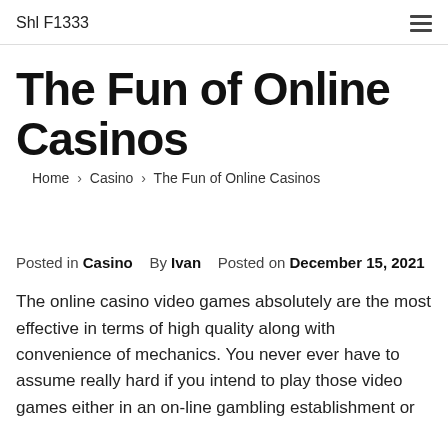Shl F1333
The Fun of Online Casinos
Home › Casino › The Fun of Online Casinos
Posted in Casino   By Ivan   Posted on December 15, 2021
The online casino video games absolutely are the most effective in terms of high quality along with convenience of mechanics. You never ever have to assume really hard if you intend to play those video games either in an on-line gambling establishment or